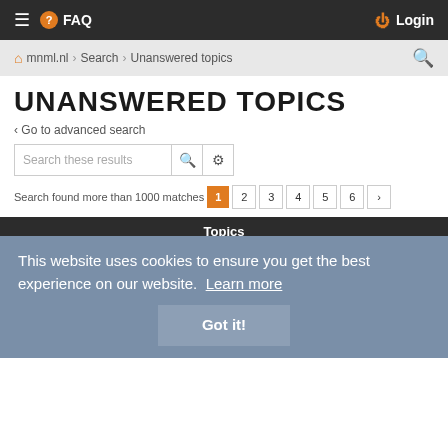≡ ? FAQ  Login
mnml.nl › Search › Unanswered topics
UNANSWERED TOPICS
‹ Go to advanced search
Search these results
Search found more than 1000 matches  1 2 3 4 5 6 ›
Topics
[SC016] LINDENBERG SUPPORT – ODE TO GALLANTRY
Last post by Lindenberg « Wed Aug 31, 2022 11:10 pm
Posted in • vinyl
TZH171 // Cata – Living in the Multivers EP incl. Primarie
Last post by TzinahRecords « Wed Aug 31, 2022 3:14 pm
Posted in • digital
This website uses cookies to ensure you get the best experience on our website. Learn more
Got it!